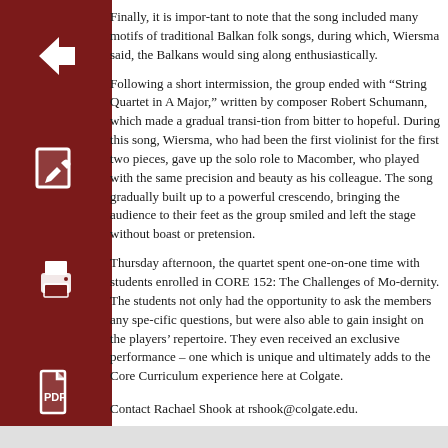[Figure (illustration): Dark red square icon with white left arrow (back navigation button)]
[Figure (illustration): Dark red square icon with white pencil/edit icon]
[Figure (illustration): Dark red square icon with white printer icon]
[Figure (illustration): Dark red square icon with white PDF file icon]
Finally, it is impor-tant to note that the song included many motifs of traditional Balkan folk songs, during which, Wiersma said, the Balkans would sing along enthusiastically.
Following a short intermission, the group ended with “String Quartet in A Major,” written by composer Robert Schumann, which made a gradual transi-tion from bitter to hopeful. During this song, Wiersma, who had been the first violinist for the first two pieces, gave up the solo role to Macomber, who played with the same precision and beauty as his colleague. The song gradually built up to a powerful crescendo, bringing the audience to their feet as the group smiled and left the stage without boast or pretension.
Thursday afternoon, the quartet spent one-on-one time with students enrolled in CORE 152: The Challenges of Mo-dernity. The students not only had the opportunity to ask the members any spe-cific questions, but were also able to gain insight on the players’ repertoire. They even received an exclusive performance – one which is unique and ultimately adds to the Core Curriculum experience here at Colgate.
Contact Rachael Shook at rshook@colgate.edu.